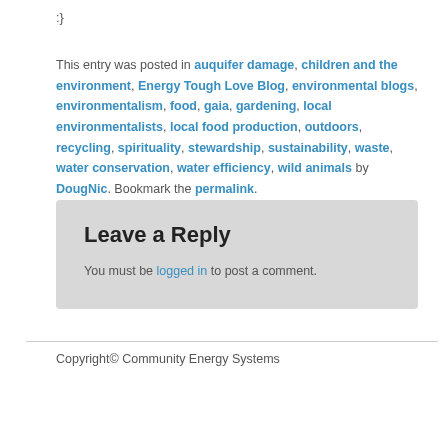:}
This entry was posted in auquifer damage, children and the environment, Energy Tough Love Blog, environmental blogs, environmentalism, food, gaia, gardening, local environmentalists, local food production, outdoors, recycling, spirituality, stewardship, sustainability, waste, water conservation, water efficiency, wild animals by DougNic. Bookmark the permalink.
Leave a Reply
You must be logged in to post a comment.
Copyright© Community Energy Systems